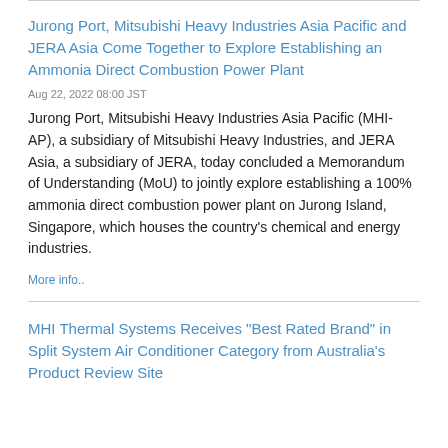Jurong Port, Mitsubishi Heavy Industries Asia Pacific and JERA Asia Come Together to Explore Establishing an Ammonia Direct Combustion Power Plant
Aug 22, 2022 08:00 JST
Jurong Port, Mitsubishi Heavy Industries Asia Pacific (MHI-AP), a subsidiary of Mitsubishi Heavy Industries, and JERA Asia, a subsidiary of JERA, today concluded a Memorandum of Understanding (MoU) to jointly explore establishing a 100% ammonia direct combustion power plant on Jurong Island, Singapore, which houses the country's chemical and energy industries.
More info..
MHI Thermal Systems Receives "Best Rated Brand" in Split System Air Conditioner Category from Australia's Product Review Site